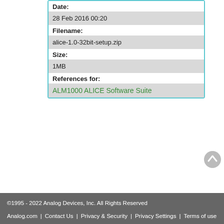| Date: |
| 28 Feb 2016 00:20 |
| Filename: |
| alice-1.0-32bit-setup.zip |
| Size: |
| 1MB |
| References for: |
| ALM1000 ALICE Software Suite |
university/courses/electronics/electronics-lab-18.txt · Last modified: 13 Jun 2022 20:04 by Doug Mercer
©1995 - 2022 Analog Devices, Inc. All Rights Reserved
Analog.com | Contact Us | Privacy & Security | Privacy Settings | Terms of use